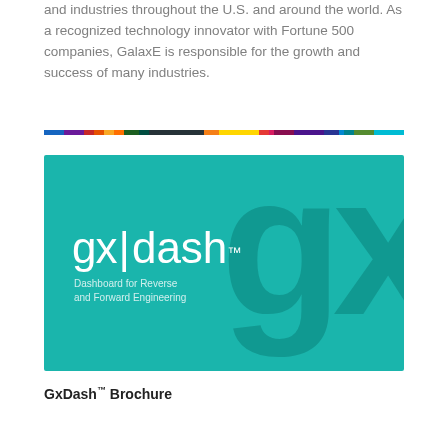and industries throughout the U.S. and around the world. As a recognized technology innovator with Fortune 500 companies, GalaxE is responsible for the growth and success of many industries.
[Figure (illustration): GxDash product branding image — teal/turquoise background with 'gx|dash' logo in white and a large watermark 'gx' in darker teal. Subtitle reads 'Dashboard for Reverse and Forward Engineering'.]
GxDash™ Brochure